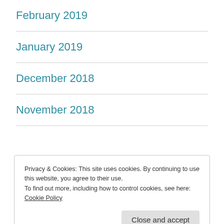February 2019
January 2019
December 2018
November 2018
Privacy & Cookies: This site uses cookies. By continuing to use this website, you agree to their use.
To find out more, including how to control cookies, see here: Cookie Policy
Close and accept
July 2018